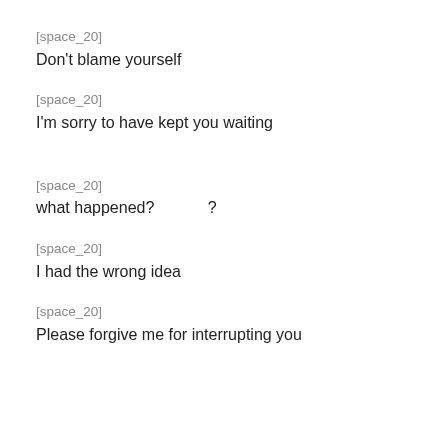[space_20]
Don't blame yourself
[space_20]
I'm sorry to have kept you waiting
[space_20]
what happened?                    ?
[space_20]
I had the wrong idea
[space_20]
Please forgive me for interrupting you